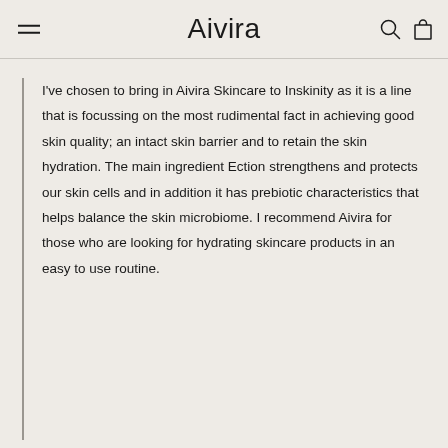Aivira
I've chosen to bring in Aivira Skincare to Inskinity as it is a line that is focussing on the most rudimental fact in achieving good skin quality; an intact skin barrier and to retain the skin hydration. The main ingredient Ection strengthens and protects our skin cells and in addition it has prebiotic characteristics that helps balance the skin microbiome. I recommend Aivira for those who are looking for hydrating skincare products in an easy to use routine.